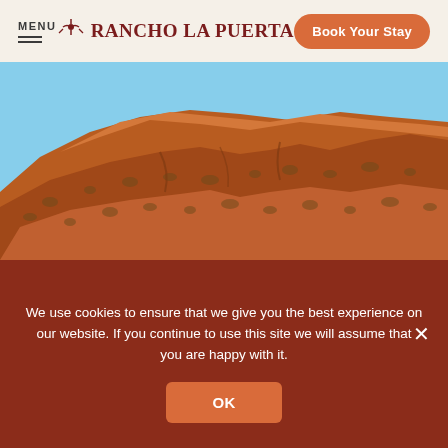MENU | Rancho La Puerta | Book Your Stay
[Figure (photo): Aerial/side view of an arid rocky mountain hillside with orange-brown earth and sparse desert scrub vegetation under a blue sky]
FITNESS
Seven Mile Breakfast Hike
Read More →
We use cookies to ensure that we give you the best experience on our website. If you continue to use this site we will assume that you are happy with it.
OK